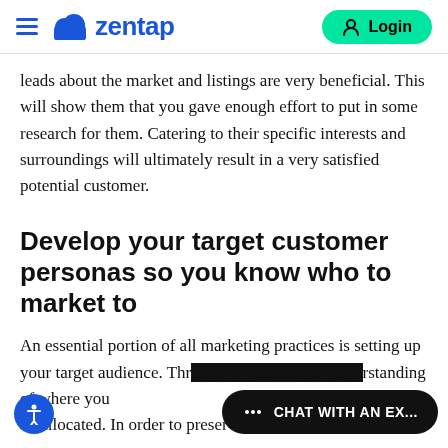zentap — Login
leads about the market and listings are very beneficial. This will show them that you gave enough effort to put in some research for them. Catering to their specific interests and surroundings will ultimately result in a very satisfied potential customer.
Develop your target customer personas so you know who to market to
An essential portion of all marketing practices is setting up your target audience. Through developing an understanding of where you... be allocated. In order to preserve them in the long-run. In